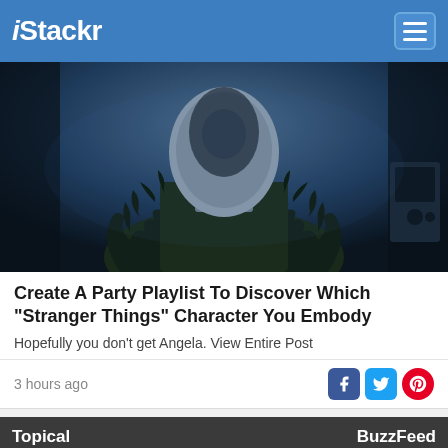iStackr
[Figure (photo): Dark moody photo of a person wearing a large furry/shaggy dark coat with a grey hood, performing on stage]
Create A Party Playlist To Discover Which "Stranger Things" Character You Embody
Hopefully you don't get Angela. View Entire Post
3 hours ago
[Figure (infographic): Topical section header with BuzzFeed label, showing two image thumbnails side by side: left shows iced coffee drinks, right shows a person with curly hair and sunglasses outdoors]